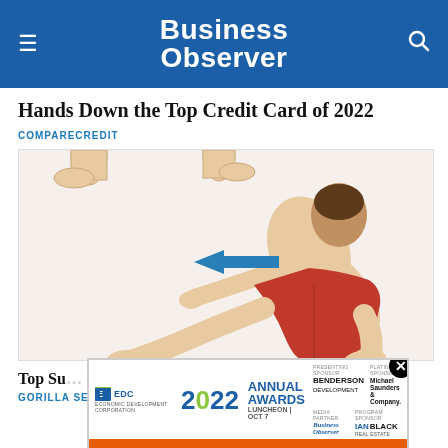Business Observer
Hands Down the Top Credit Card of 2022
COMPARECREDIT
[Figure (illustration): Illustration of a man in red shorts in a sprinting/stretching position with a blue arrow pointing left, and legs visible at top]
Top Su... Prosta...
GORILLA SE...
[Figure (infographic): EDC Economic Development Corporation Annual Awards 2022 Luncheon Oct 7 advertisement with REGISTER NOW button, sponsors including Benderson Development, Michael Saunders & Company, Business Observer, Ian Black Real Estate]